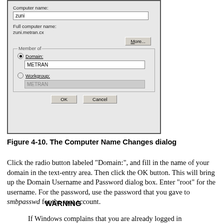[Figure (screenshot): Windows 'Computer Name Changes' dialog box showing a text input with 'zuni', Full computer name 'zuni.metran.cx', a More... button, a 'Member of' group with Domain radio button selected showing 'METRAN', and Workgroup radio button unselected showing 'METRAN', plus OK and Cancel buttons.]
Figure 4-10. The Computer Name Changes dialog
Click the radio button labeled "Domain:", and fill in the name of your domain in the text-entry area. Then click the OK button. This will bring up the Domain Username and Password dialog box. Enter "root" for the username. For the password, use the password that you gave to smbpasswd for the root account.
WARNING
If Windows complains that you are already logged in